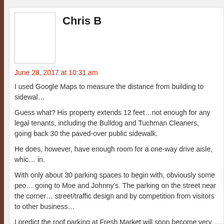Chris B
June 28, 2017 at 10:31 am
I used Google Maps to measure the distance from building to sidewal…
Guess what? His property extends 12 feet…not enough for any legal tenants, including the Bulldog and Tuchman Cleaners, going back 30 the paved-over public sidewalk.
He does, however, have enough room for a one-way drive aisle, which in.
With only about 30 parking spaces to begin with, obviously some peo going to Moe and Johnny's. The parking on the street near the corner street/traffic design and by competition from visitors to other business…
I predict the roof parking at Fresh Market will soon become very popu…